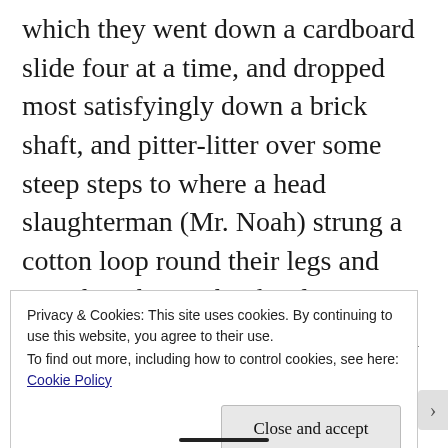which they went down a cardboard slide four at a time, and dropped most satisfyingly down a brick shaft, and pitter-litter over some steep steps to where a head slaughterman (Mr. Noah) strung a cotton loop round their legs and sent them by pin hooks along a wire to a second slaughterman with a chipped foot (formerly Mrs. Noah) who, if I remember rightly, converted them into Army sausage by means of a portion of the inside of an old alarum clock.
Privacy & Cookies: This site uses cookies. By continuing to use this website, you agree to their use.
To find out more, including how to control cookies, see here: Cookie Policy
Close and accept